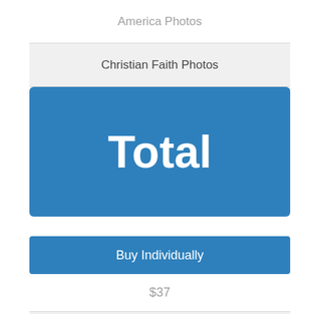| Buy Individually |
| --- |
| America Photos | $37 |
| Christian Faith Photos | $17 |
| Total | $47 |
|  | $29 |